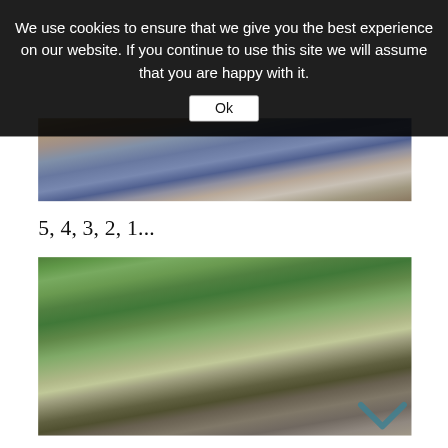We use cookies to ensure that we give you the best experience on our website. If you continue to use this site we will assume that you are happy with it.
Ok
[Figure (photo): Partial view of a person's lower body wearing blue jeans and a grey/brown top, standing on a tiled floor]
5, 4, 3, 2, 1...
[Figure (photo): A hand holding a rainbow-colored cone-shaped object (possibly a gnome hat) against a background of green trees and bushes outdoors]